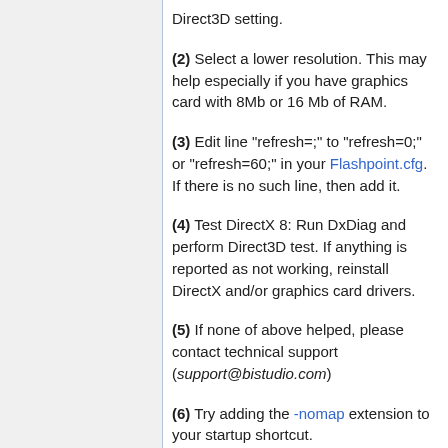Direct3D setting.
(2) Select a lower resolution. This may help especially if you have graphics card with 8Mb or 16 Mb of RAM.
(3) Edit line "refresh=;" to "refresh=0;" or "refresh=60;" in your Flashpoint.cfg. If there is no such line, then add it.
(4) Test DirectX 8: Run DxDiag and perform Direct3D test. If anything is reported as not working, reinstall DirectX and/or graphics card drivers.
(5) If none of above helped, please contact technical support (support@bistudio.com)
(6) Try adding the -nomap extension to your startup shortcut.